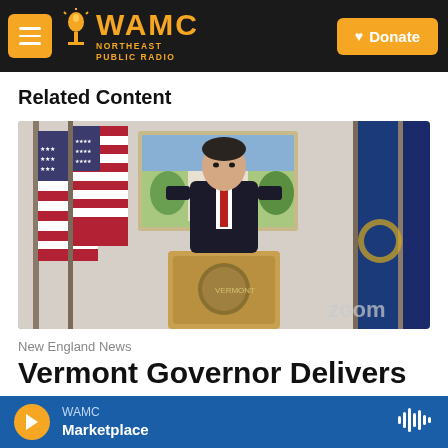WAMC Northeast Public Radio — Donate
Related Content
[Figure (photo): Vermont Governor standing at a podium in front of American flags and blue state flags, with a painting of the Vermont State House in the background. A Zoom watermark is visible in the lower right corner.]
New England News
Vermont Governor Delivers
WAMC Marketplace